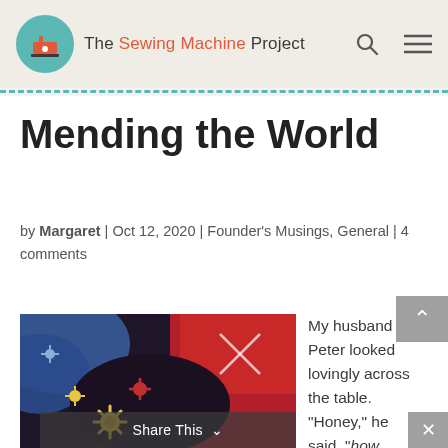The Sewing Machine Project
Mending the World
by Margaret | Oct 12, 2020 | Founder's Musings, General | 4 comments
[Figure (photo): Close-up photo of colorful embroidered fabric with floral/daisy patterns on dark background, with red fabric visible]
Share This
My husband Peter looked lovingly across the table. "Honey," he said, "how...